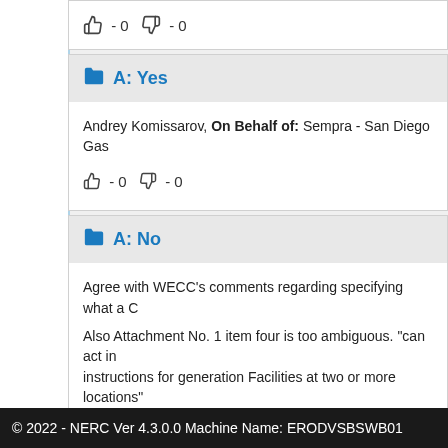👍 - 0 👎 - 0
A: Yes
Andrey Komissarov, On Behalf of: Sempra - San Diego Gas
👍 - 0 👎 - 0
A: No
Agree with WECC's comments regarding specifying what a C
Also Attachment No. 1 item four is too ambiguous. "can act in instructions for generation Facilities at two or more locations" instructions?
I suggest the following: "Generator Operators that develop s
© 2022 - NERC Ver 4.3.0.0 Machine Name: ERODVSBSWB01